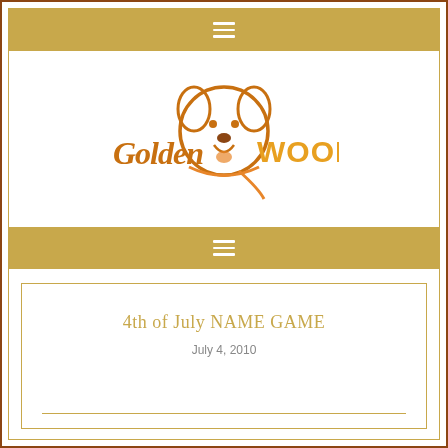[Figure (logo): Golden Woofs logo with cartoon golden retriever dog face and stylized text 'Golden WOOFS']
4th of July NAME GAME
July 4, 2010